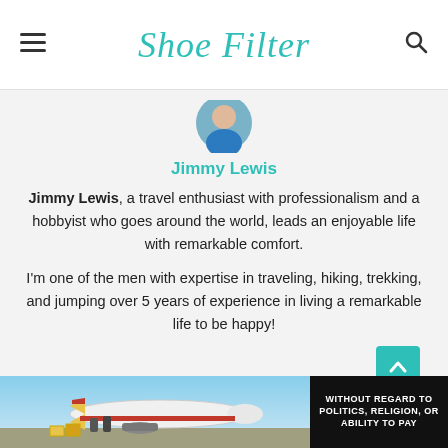Shoe Filter
[Figure (photo): Circular avatar/profile photo of Jimmy Lewis, partially cropped at top]
Jimmy Lewis
Jimmy Lewis, a travel enthusiast with professionalism and a hobbyist who goes around the world, leads an enjoyable life with remarkable comfort.
I'm one of the men with expertise in traveling, hiking, trekking, and jumping over 5 years of experience in living a remarkable life to be happy!
[Figure (photo): Advertisement banner showing an airplane being loaded with cargo, with text 'WITHOUT REGARD TO POLITICS, RELIGION, OR ABILITY TO PAY' on dark background]